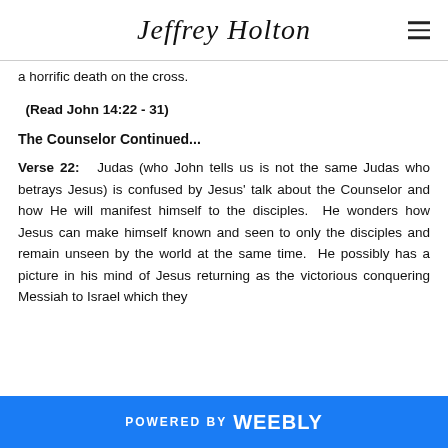Jeffrey Holton
a horrific death on the cross.
(Read John 14:22 - 31)
The Counselor Continued...
Verse 22: Judas (who John tells us is not the same Judas who betrays Jesus) is confused by Jesus' talk about the Counselor and how He will manifest himself to the disciples. He wonders how Jesus can make himself known and seen to only the disciples and remain unseen by the world at the same time. He possibly has a picture in his mind of Jesus returning as the victorious conquering Messiah to Israel which they
POWERED BY weebly